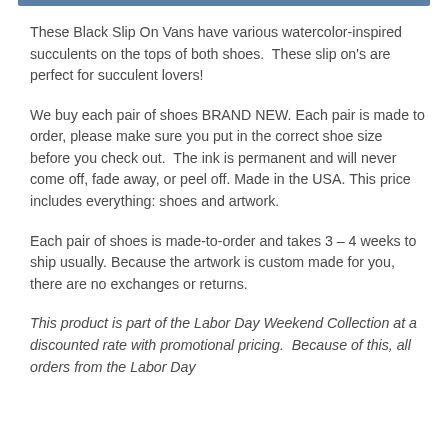These Black Slip On Vans have various watercolor-inspired succulents on the tops of both shoes.  These slip on's are perfect for succulent lovers!
We buy each pair of shoes BRAND NEW. Each pair is made to order, please make sure you put in the correct shoe size before you check out.  The ink is permanent and will never come off, fade away, or peel off. Made in the USA. This price includes everything: shoes and artwork.
Each pair of shoes is made-to-order and takes 3 – 4 weeks to ship usually. Because the artwork is custom made for you, there are no exchanges or returns.
This product is part of the Labor Day Weekend Collection at a discounted rate with promotional pricing.  Because of this, all orders from the Labor Day Weekend Sale are a final sale (no returns or exchanges).